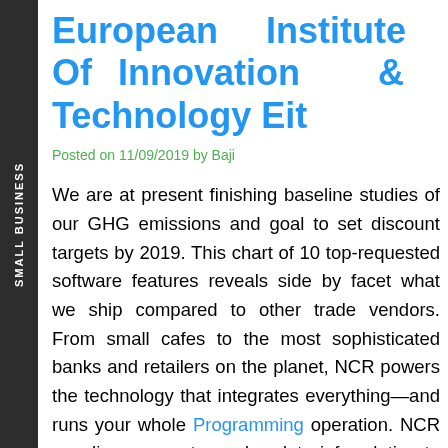SMALL BUSINESS
European Institute Of Innovation & Technology Eit
Posted on 11/09/2019 by Baji
We are at present finishing baseline studies of our GHG emissions and goal to set discount targets by 2019. This chart of 10 top-requested software features reveals side by facet what we ship compared to other trade vendors. From small cafes to the most sophisticated banks and retailers on the planet, NCR powers the technology that integrates everything—and runs your whole Programming operation. NCR suppliers can entry and update info relating to invoices, orders, billing inquiry and efficiency evaluations. Browse our best ideas, blogs,